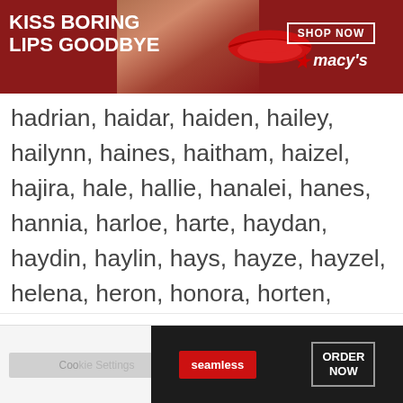[Figure (illustration): Macy's advertisement banner: dark red background with woman's face showing red lips, text 'KISS BORING LIPS GOODBYE', 'SHOP NOW' button, and Macy's star logo]
eylin, finlee
hadrian, haidar, haiden, hailey, hailynn, haines, haitham, haizel, hajira, hale, hallie, hanalei, hanes, hannia, harloe, harte, haydan, haydin, haylin, hays, hayze, hayzel, helena, heron, honora, horten, hosea, ibaad, ibhaan, icaro, idella, ifra, ikenna, ikora, ikraam, ilinca, ilka, imaad, imaan, imari, inara, india, indyah, insiya, irelia, irene, irenka, isabel, isak, isela, isha, ismael, issac
We use cookies on our website to give you the most relevant experience by remembering your preferences and repeat visits. By clicking “Accept”, you consent to the use of ALL the cookies.
Do not sell my personal information.
[Figure (illustration): Seamless food delivery advertisement: dark background with pizza image, Seamless red logo, 'ORDER NOW' button with grey border]
CLOSE